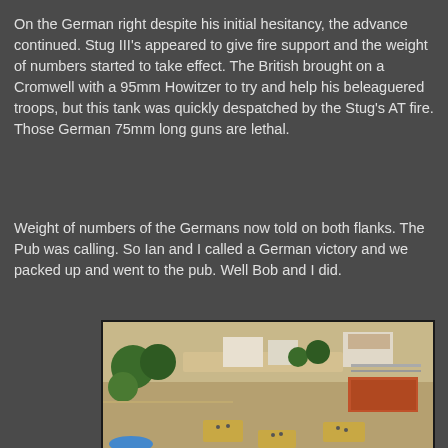On the German right despite his initial hesitancy, the advance continued. Stug III's appeared to give fire support and the weight of numbers started to take effect. The British brought on a Cromwell with a 95mm Howitzer to try and help his beleaguered troops, but this tank was quickly despatched by the Stug's AT fire. Those German 75mm long guns are lethal.
Weight of numbers of the Germans now told on both flanks. The Pub was calling. So Ian and I called a German victory and we packed up and went to the pub. Well Bob and I did.
[Figure (photo): Overhead photograph of a miniature wargaming table showing model terrain including trees, buildings, roads, fences, and painted miniature soldiers and vehicles on a battlefield layout.]